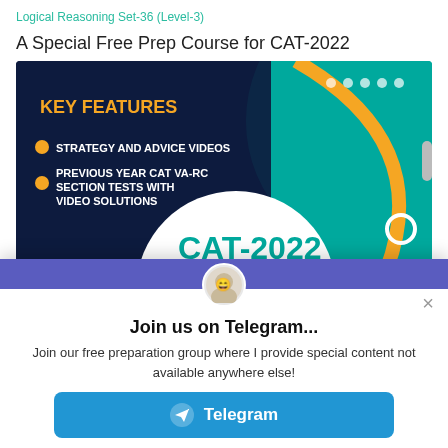Logical Reasoning Set-36 (Level-3)
A Special Free Prep Course for CAT-2022
[Figure (infographic): Promotional banner for CAT-2022 free prep course showing KEY FEATURES: Strategy and Advice Videos, Previous Year CAT VA-RC Section Tests with Video Solutions. Dark navy and teal background with gold arc. Large white circle with CAT-2022 text in teal.]
[Figure (screenshot): Popup modal: Join us on Telegram... Join our free preparation group where I provide special content not available anywhere else! with a Telegram button.]
Join us on Telegram...
Join our free preparation group where I provide special content not available anywhere else!